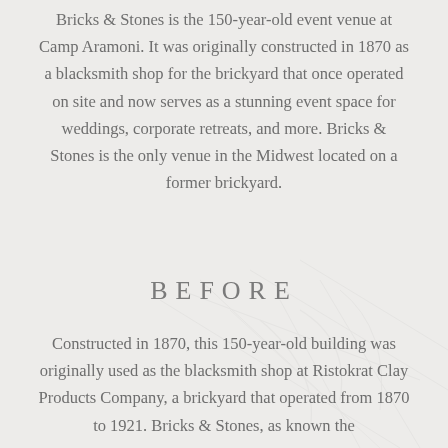Bricks & Stones is the 150-year-old event venue at Camp Aramoni. It was originally constructed in 1870 as a blacksmith shop for the brickyard that once operated on site and now serves as a stunning event space for weddings, corporate retreats, and more. Bricks & Stones is the only venue in the Midwest located on a former brickyard.
BEFORE
Constructed in 1870, this 150-year-old building was originally used as the blacksmith shop at Ristokrat Clay Products Company, a brickyard that operated from 1870 to 1921. Bricks & Stones, as known the...